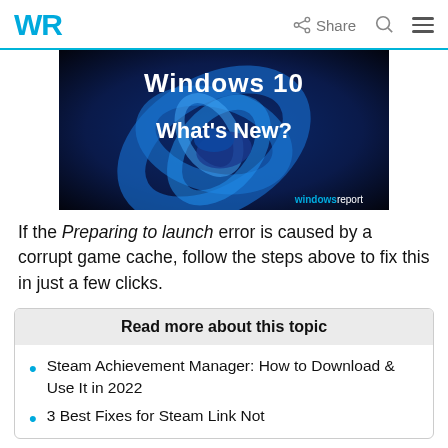WR   Share
[Figure (illustration): Windows 10 What's New? promotional banner image with blue Windows swirl artwork and windowsreport branding]
If the Preparing to launch error is caused by a corrupt game cache, follow the steps above to fix this in just a few clicks.
Read more about this topic
Steam Achievement Manager: How to Download & Use It in 2022
3 Best Fixes for Steam Link Not...